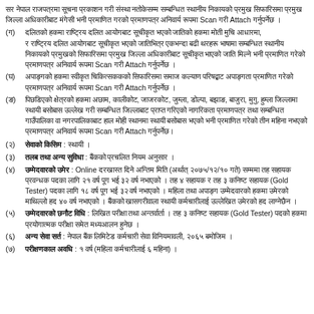सर नेपाल राजपत्रमा सूचना प्रकाशन गरी संस्था नतोकेसम्म सम्बन्धित स्थानीय निकायको प्रमुख सिफारिसमा प्रमुख जिल्ला अधिकारीबाट मंगेसी भनी प्रमाणित गरेको प्रमाणपत्र अनिवार्य रूपमा Scan गरी Attach गर्नुपर्नेछ ।
(ग) दलितको हकमा राष्ट्रिय दलित आयोगबाट सूचीकृत भएको जातिको हकमा मोती मुचि आधारमा,
र राष्ट्रिय दलित आयोगबाट सूचीकृत भएको जातिभित्र एकभन्दा बढी थरहरू भाषामा सम्बन्धित स्थानीय निकायको प्रमुखको सिफारिसमा प्रमुख जिल्ला अधिकारीबाट सूचीकृत भाएको जाति मिल्ने भनी प्रमाणित गरेको प्रमाणपत्र अनिवार्य रूपमा Scan गरी Attach गर्नुपर्नेछ ।
(घ) अपाङ्गको हकमा स्वीकृत चिकित्सककको सिफारिसमा समाज कल्याण परिषद्बाट अफाङ्गता प्रमाणित गरेको प्रमाणपत्र अनिवार्य रूपमा Scan गरी Attach गर्नुपर्नेछ ।
(ङ) पिछडिएको क्षेत्रको हकमा अछाम, कालीकोट, जाजरकोट, जुम्ला, डोल्पा, बझाङ, बाजुरा, मुगु, हुम्ला जिल्लामा स्थायी बसोबास उल्लेख गरी सम्बन्धित जिल्लाबाट प्राप्त गरिएको नागरिकता प्रमाणपत्र तथा सम्बन्धित गाउँपालिका वा नगरपालिकाबाट हाल मोही स्थानमा स्थायी बसोबास भएको भनी प्रमाणित गरेको तीन महिना नभएको प्रमाणपत्र अनिवार्य रूपमा Scan गरी Attach गर्नुपर्नेछ।
(२) सेवाको किसिम : स्थायी ।
(३) तलब तथा अन्य सुविधा : बैंकको प्रचलित नियम अनुसार ।
(४) उम्मेदवारको उमेर : Online दरखास्त दिने अन्तिम मिति (अर्थात् २०७५/१२/१० गते) सम्ममा तह सहायक प्रवन्धक पदका लागि २१ वर्ष पूग भई ३२ वर्ष नभाएको । तह ४ सहायक र तह ३ कनिष्ट सहायक (Gold Tester) पदका लागि १८ वर्ष पूग भई ३२ वर्ष नभाएको । महिला तथा अपाङ्ग उम्मेदवारको हकमा उमेरको माथिल्लो हद ४० वर्ष नभाएको । बैंकको खासगरीवाला स्थायी कर्मचारीलाई उल्लेखित उमेरको हद लाग्नेछैन ।
(५) उम्मेदवारको छनौट विधि : लिखित परीक्षा तथा अन्तर्वार्ता । तह ३ कनिष्ट सहायक (Gold Tester) पदको हकमा प्रयोगात्मक परीक्षा समेत मध्यआलन हुनेछ ।
(६) अन्य सेवा सर्त : नेपाल बैंक लिमिटेड कर्मचारी सेवा विनियमावली, २०६५ बमोजिम ।
(७) परीक्षणकाल अवधि : १ वर्ष (महिला कर्मचारीलाई ६ महिना) ।